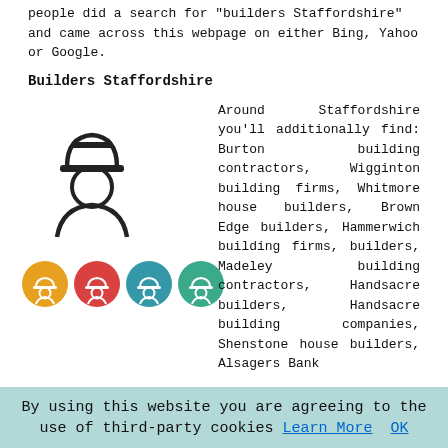people did a search for "builders Staffordshire" and came across this webpage on either Bing, Yahoo or Google.
Builders Staffordshire
[Figure (illustration): Icon of a builder/construction worker in hard hat, above a row of four colored circular builder icons (orange, red, teal/blue, teal/green)]
Around Staffordshire you'll additionally find: Burton building contractors, Wigginton building firms, Whitmore house builders, Brown Edge builders, Hammerwich building firms, builders, Madeley building contractors, Handsacre builders, Handsacre building companies, Shenstone house builders, Alsagers Bank builders, Burton building firms, Essington house builders, building contractors, Kinver building companies, Stapenhill house builders, Mavesyn Ridware house builders, Madeley building firms, Rugeley building companies, Wheaton Aston building companies, building companies, Longdon building contractors, Ipstones building firms, Madeley house builders, Silverdale building firms, Brocton building companies, builders, Denstone house builders, Anglesey
By using this website you are agreeing to the use of third-party cookies Learn More OK